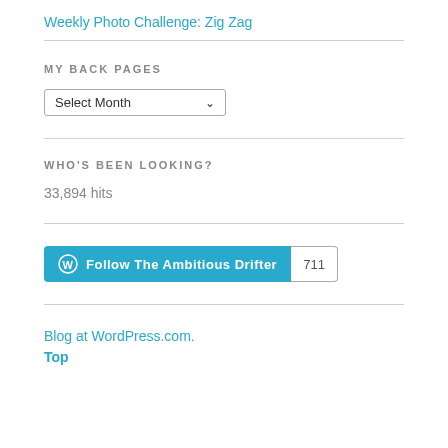Weekly Photo Challenge: Zig Zag
MY BACK PAGES
Select Month
WHO'S BEEN LOOKING?
33,894 hits
Follow The Ambitious Drifter  711
Blog at WordPress.com.
Top